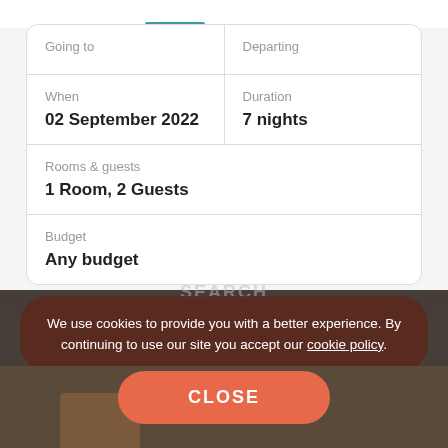[Figure (screenshot): Travel booking form with fields: Going to / Departing, When: 02 September 2022 / Duration: 7 nights, Rooms & guests: 1 Room, 2 Guests, Budget: Any budget]
We use cookies to provide you with a better experience. By continuing to use our site you accept our cookie policy.
CLOSE
Riviera M... ugust